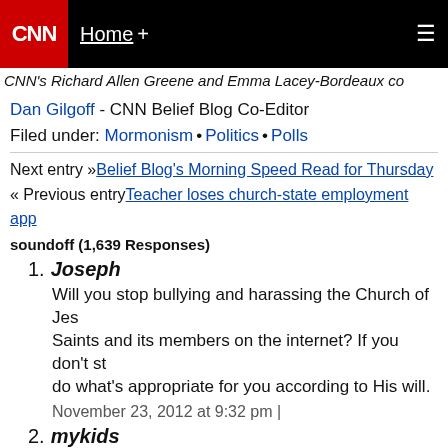CNN Home +
CNN's Richard Allen Greene and Emma Lacey-Bordeaux co
Dan Gilgoff - CNN Belief Blog Co-Editor
Filed under: Mormonism • Politics • Polls
Next entry »Belief Blog's Morning Speed Read for Thursday
« Previous entryTeacher loses church-state employment app
soundoff (1,639 Responses)
1. Joseph
Will you stop bullying and harassing the Church of Jesus Christ of Latter-day Saints and its members on the internet? If you don't stop, God will do what's appropriate for you according to His will.
November 23, 2012 at 9:32 pm |
2. mykids